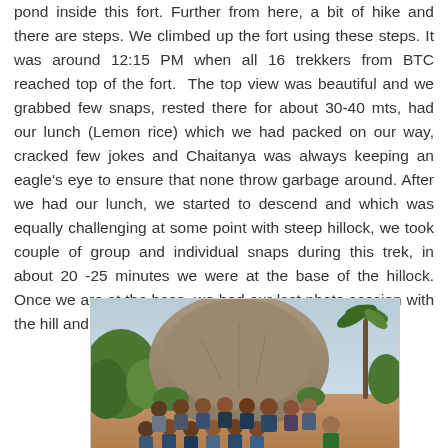pond inside this fort. Further from here, a bit of hike and there are steps. We climbed up the fort using these steps. It was around 12:15 PM when all 16 trekkers from BTC reached top of the fort.  The top view was beautiful and we grabbed few snaps, rested there for about 30-40 mts, had our lunch (Lemon rice) which we had packed on our way, cracked few jokes and Chaitanya was always keeping an eagle's eye to ensure that none throw garbage around. After we had our lunch, we started to descend and which was equally challenging at some point with steep hillock, we took couple of group and individual snaps during this trek, in about 20 -25 minutes we were at the base of the hillock. Once we are at the base, we had our last photo session with the hill and fort overlooking us.
[Figure (photo): Group photo of trekkers at the base of a large rocky hillock with a fort. Approximately 16 people posing in front of a large granite hill, with green foliage and a palm tree visible. The ground is reddish-brown soil.]